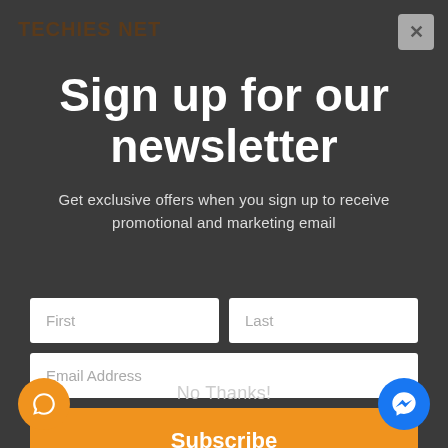TECHIES NET
Sign up for our newsletter
Get exclusive offers when you sign up to receive promotional and marketing email
[Figure (screenshot): Newsletter signup form with First/Last name fields, Email Address field, Subscribe button, and No Thanks link]
No Thanks!